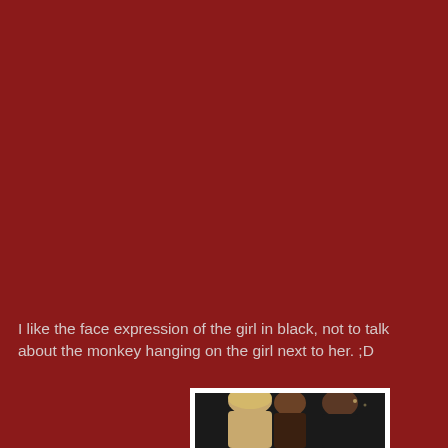I like the face expression of the girl in black, not to talk about the monkey hanging on the girl next to her. ;D
[Figure (photo): A photo of people at what appears to be a party or event, partially visible at the bottom of the page. A person with blonde hair is prominent in the foreground.]